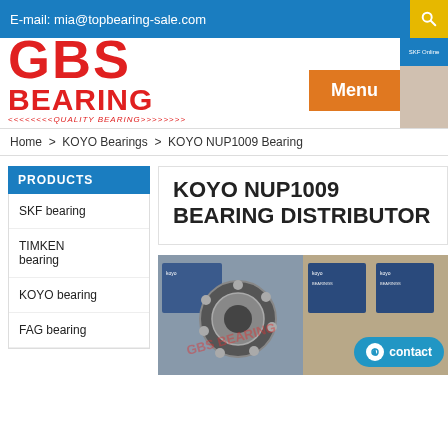E-mail: mia@topbearing-sale.com
[Figure (logo): GBS Bearing logo in red with text 'GBS BEARING <<<<<<< QUALITY BEARING >>>>>>>>']
Menu
Home > KOYO Bearings > KOYO NUP1009 Bearing
PRODUCTS
SKF bearing
TIMKEN bearing
KOYO bearing
FAG bearing
KOYO NUP1009 BEARING DISTRIBUTOR
[Figure (photo): Photo of KOYO NUP1009 bearing product and packaging boxes]